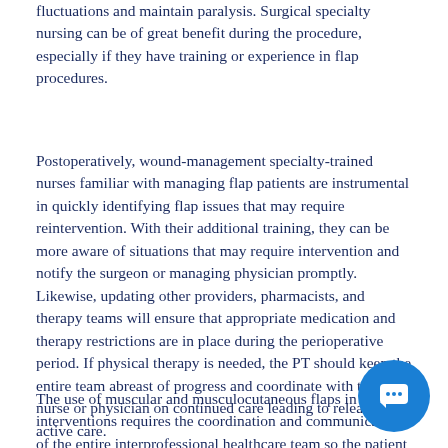fluctuations and maintain paralysis. Surgical specialty nursing can be of great benefit during the procedure, especially if they have training or experience in flap procedures.
Postoperatively, wound-management specialty-trained nurses familiar with managing flap patients are instrumental in quickly identifying flap issues that may require reintervention. With their additional training, they can be more aware of situations that may require intervention and notify the surgeon or managing physician promptly. Likewise, updating other providers, pharmacists, and therapy teams will ensure that appropriate medication and therapy restrictions are in place during the perioperative period. If physical therapy is needed, the PT should keep the entire team abreast of progress and coordinate with the nurse or physician on continued care leading to release from active care.
The use of muscular and musculocutaneous flaps in surgical interventions requires the coordination and communication of the entire interprofessional healthcare team so the patient receives the best possible care leading to optimal